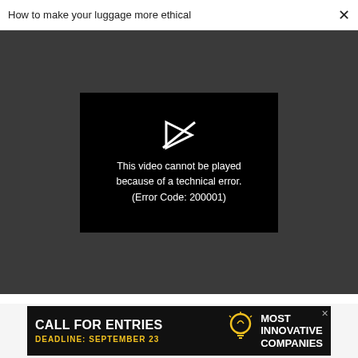How to make your luggage more ethical
[Figure (screenshot): Black video player box showing error: 'This video cannot be played because of a technical error. (Error Code: 200001)' with a broken play button icon on dark grey background.]
Advertise | Privacy Policy | Terms | Notice of Collection | Do Not Sell My Data | Permissions | Help Center | About Us | Site Map | Fast Company & Inc © 2022 Mansueto Ventures, LLC
[Figure (infographic): Advertisement banner: CALL FOR ENTRIES, DEADLINE: SEPTEMBER 23, Most Innovative Companies with lightbulb icon.]